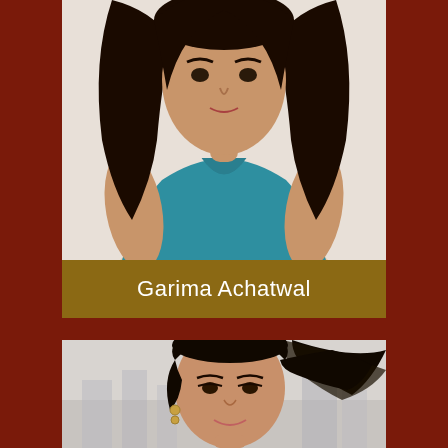[Figure (photo): Cropped photo of a woman wearing a teal/blue sleeveless top, dark hair visible on the sides, upper body visible]
Garima Achatwal
[Figure (photo): Photo of a woman with dark hair pulled back, wearing earrings, smiling, light background]